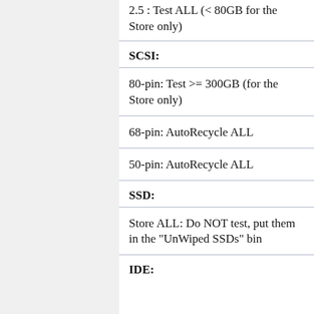2.5 : Test ALL (< 80GB for the Store only)
SCSI:
80-pin: Test >= 300GB (for the Store only)
68-pin: AutoRecycle ALL
50-pin: AutoRecycle ALL
SSD:
Store ALL: Do NOT test, put them in the "UnWiped SSDs" bin
IDE: